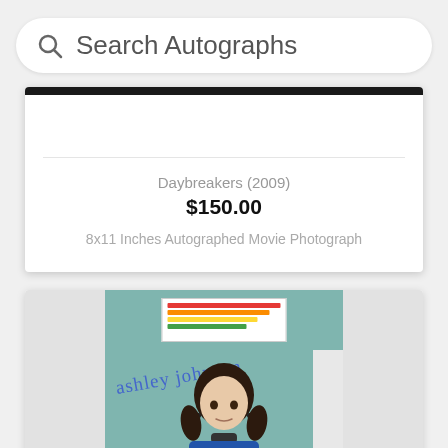Search Autographs
Daybreakers (2009)
$150.00
8x11 Inches Autographed Movie Photograph
[Figure (photo): Autographed movie photograph showing a young girl with dark hair and hair clips, in a teal/blue room setting, with a blue ink signature overlay and a chart/document visible on the wall behind her.]